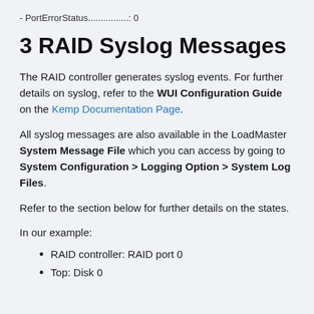- PortErrorStatus................: 0
3 RAID Syslog Messages
The RAID controller generates syslog events. For further details on syslog, refer to the WUI Configuration Guide on the Kemp Documentation Page.
All syslog messages are also available in the LoadMaster System Message File which you can access by going to System Configuration > Logging Option > System Log Files.
Refer to the section below for further details on the states.
In our example:
RAID controller: RAID port 0
Top: Disk 0